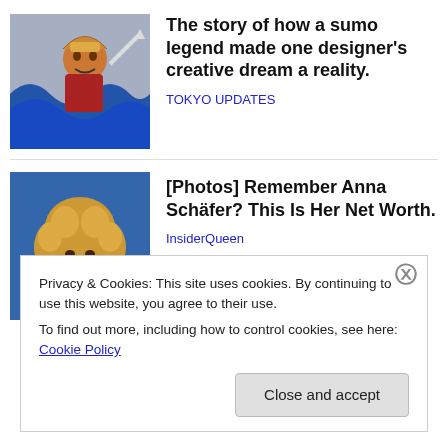[Figure (photo): Colorful Japanese-style illustration of a sumo/warrior figure with waves]
The story of how a sumo legend made one designer's creative dream a reality.
TOKYO UPDATES
[Figure (photo): Photo of a woman with curly blonde hair smiling]
[Photos] Remember Anna Schäfer? This Is Her Net Worth.
InsiderQueen
Privacy & Cookies: This site uses cookies. By continuing to use this website, you agree to their use.
To find out more, including how to control cookies, see here: Cookie Policy
Close and accept